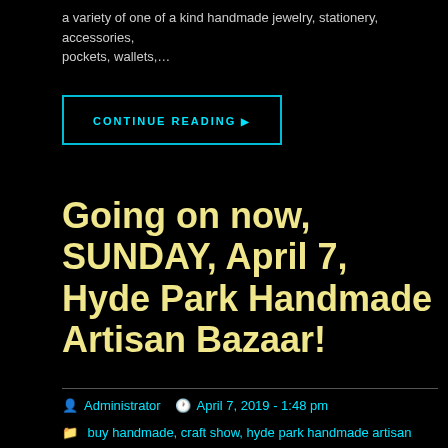a variety of one of a kind handmade jewelry, stationery, accessories, pockets, wallets,...
CONTINUE READING ▶
Going on now, SUNDAY, April 7, Hyde Park Handmade Artisan Bazaar!
Administrator  April 7, 2019 - 1:48 pm
buy handmade, craft show, hyde park handmade artisan bazaar, shop local
accessories, buy handmade, chicago, hair clips, handmade, hyde park chicago, hyde park handmade jewelry, pockets, promontory, rj studio inc, shop local, stationery, the promontory, wallets